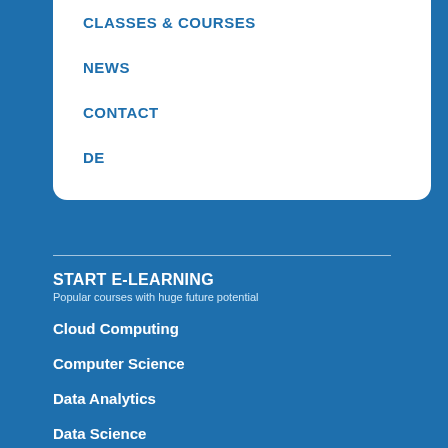CLASSES & COURSES
NEWS
CONTACT
DE
START E-LEARNING
Popular courses with huge future potential
Cloud Computing
Computer Science
Data Analytics
Data Science